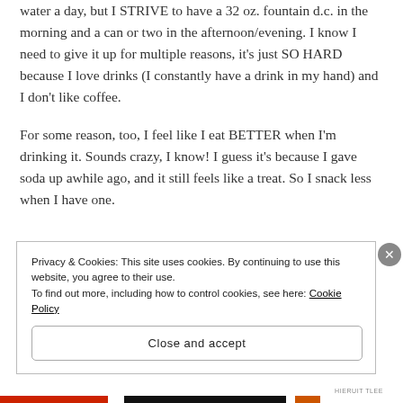water a day, but I STRIVE to have a 32 oz. fountain d.c. in the morning and a can or two in the afternoon/evening. I know I need to give it up for multiple reasons, it's just SO HARD because I love drinks (I constantly have a drink in my hand) and I don't like coffee.
For some reason, too, I feel like I eat BETTER when I'm drinking it. Sounds crazy, I know! I guess it's because I gave soda up awhile ago, and it still feels like a treat. So I snack less when I have one.
Privacy & Cookies: This site uses cookies. By continuing to use this website, you agree to their use.
To find out more, including how to control cookies, see here: Cookie Policy
Close and accept